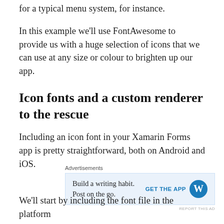for a typical menu system, for instance.
In this example we'll use FontAwesome to provide us with a huge selection of icons that we can use at any size or colour to brighten up our app.
Icon fonts and a custom renderer to the rescue
Including an icon font in your Xamarin Forms app is pretty straightforward, both on Android and iOS.
[Figure (other): Advertisement banner: 'Build a writing habit. Post on the go.' with GET THE APP button and WordPress logo]
We'll start by including the font file in the platform